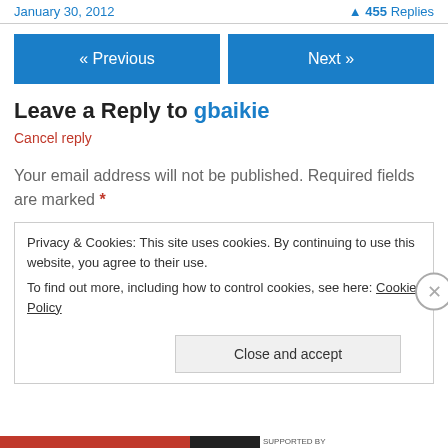January 30, 2012    455 Replies
« Previous    Next »
Leave a Reply to gbaikie
Cancel reply
Your email address will not be published. Required fields are marked *
Privacy & Cookies: This site uses cookies. By continuing to use this website, you agree to their use.
To find out more, including how to control cookies, see here: Cookie Policy
Close and accept